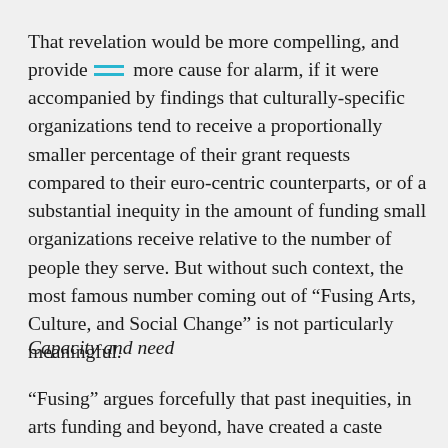That revelation would be more compelling, and provide more cause for alarm, if it were accompanied by findings that culturally-specific organizations tend to receive a proportionally smaller percentage of their grant requests compared to their euro-centric counterparts, or of a substantial inequity in the amount of funding small organizations receive relative to the number of people they serve. But without such context, the most famous number coming out of “Fusing Arts, Culture, and Social Change” is not particularly meaningful.
Capacity and need
“Fusing” argues forcefully that past inequities, in arts funding and beyond, have created a caste system in